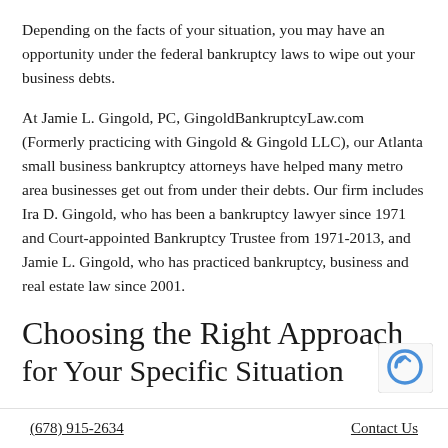Depending on the facts of your situation, you may have an opportunity under the federal bankruptcy laws to wipe out your business debts.
At Jamie L. Gingold, PC, GingoldBankruptcyLaw.com (Formerly practicing with Gingold & Gingold LLC), our Atlanta small business bankruptcy attorneys have helped many metro area businesses get out from under their debts. Our firm includes Ira D. Gingold, who has been a bankruptcy lawyer since 1971 and Court-appointed Bankruptcy Trustee from 1971-2013, and Jamie L. Gingold, who has practiced bankruptcy, business and real estate law since 2001.
Choosing the Right Approach for Your Specific Situation
(678) 915-2634    Contact Us